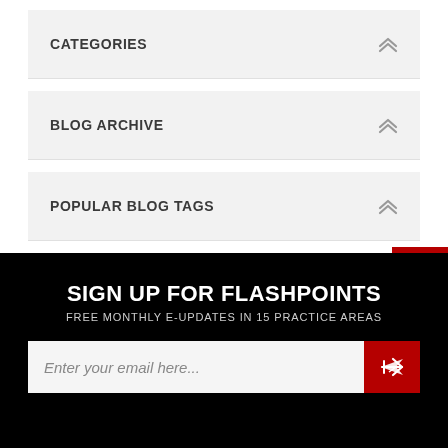CATEGORIES
BLOG ARCHIVE
POPULAR BLOG TAGS
SIGN UP FOR FLASHPOINTS
FREE MONTHLY E-UPDATES IN 15 PRACTICE AREAS
Enter your email here...